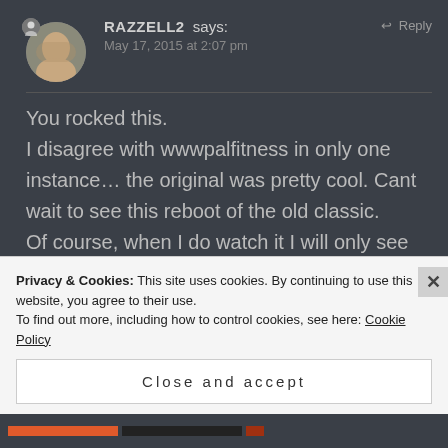RAZZELL2 says:
May 17, 2015 at 2:07 pm
Reply
You rocked this.
I disagree with wwwpalfitness in only one instance… the original was pretty cool. Cant wait to see this reboot of the old classic.
Of course, when I do watch it I will only see you, and these images, in
Privacy & Cookies: This site uses cookies. By continuing to use this website, you agree to their use.
To find out more, including how to control cookies, see here: Cookie Policy
Close and accept